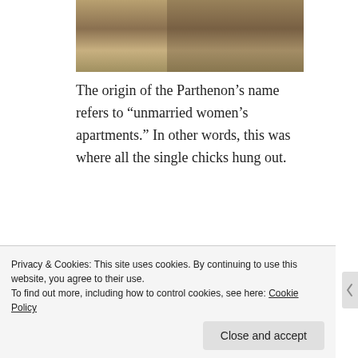[Figure (photo): Photo of tourists among ancient stone columns of the Parthenon]
The origin of the Parthenon’s name refers to “unmarried women’s apartments.” In other words, this was where all the single chicks hung out.
[Figure (photo): Photo of the Acropolis rock face with blue sky]
Privacy & Cookies: This site uses cookies. By continuing to use this website, you agree to their use.
To find out more, including how to control cookies, see here: Cookie Policy
Close and accept